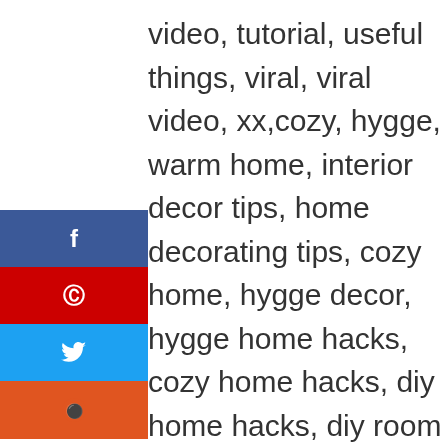video, tutorial, useful things, viral, viral video, xx,cozy, hygge, warm home, interior decor tips, home decorating tips, cozy home, hygge decor, hygge home hacks, cozy home hacks, diy home hacks, diy room decor, apartment makeover, apartment transformation, easy ways to make your home look better, cute apartment, diy apartment, cheap, affordable, tips for decorating, warm decor
[Figure (other): Social sharing buttons: Facebook (blue), Pinterest (red), Twitter (light blue), Reddit (orange)]